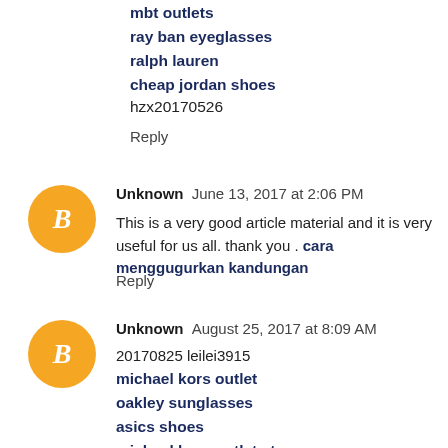mbt outlets
ray ban eyeglasses
ralph lauren
cheap jordan shoes
hzx20170526
Reply
Unknown  June 13, 2017 at 2:06 PM
This is a very good article material and it is very useful for us all. thank you . cara menggugurkan kandungan
Reply
Unknown  August 25, 2017 at 8:09 AM
20170825 leilei3915
michael kors outlet
oakley sunglasses
asics shoes
michael kors outlet store